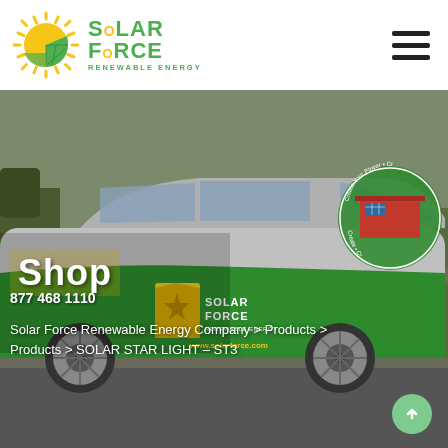[Figure (logo): Solar Force Renewable Energy logo with sun graphic and green text]
[Figure (photo): Solar Force branded vehicle — a silver SUV with green Solar Force Renewable Energy wrap showing the logo and website www.solarforce.com, with a circular crest badge on the rear window]
Shop
877 468 1110
Solar Force Renewable Energy Company > Products > Products > SOLAR STAR LIGHT – ST3